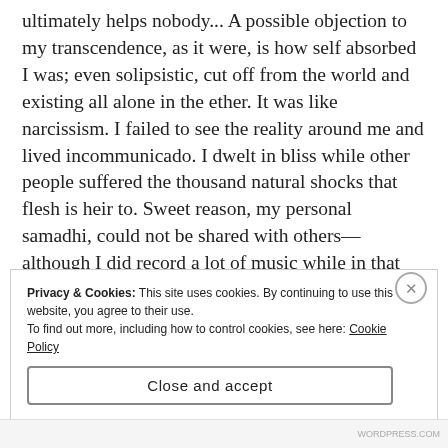ultimately helps nobody... A possible objection to my transcendence, as it were, is how self absorbed I was; even solipsistic, cut off from the world and existing all alone in the ether. It was like narcissism. I failed to see the reality around me and lived incommunicado. I dwelt in bliss while other people suffered the thousand natural shocks that flesh is heir to. Sweet reason, my personal samadhi, could not be shared with others— although I did record a lot of music while in that mental state. The electric guitar swam in oceans of ethereal reverb for a celestial effect. It was the style back in the late
Privacy & Cookies: This site uses cookies. By continuing to use this website, you agree to their use.
To find out more, including how to control cookies, see here: Cookie Policy
Close and accept
WORDPRESS.COM